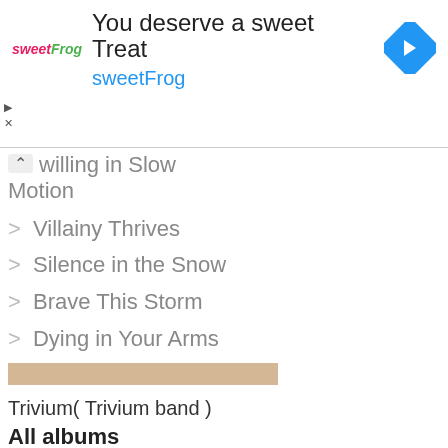[Figure (other): SweetFrog advertisement banner with logo, tagline 'You deserve a sweet Treat', brand name 'sweetFrog', and a blue diamond navigation icon]
willing in Slow
Motion
> Villainy Thrives
> Silence in the Snow
> Brave This Storm
> Dying in Your Arms
Trivium( Trivium band )
All albums
> What The Dead Men Say
> Kill The Poor
> Drowning In Sound
> I Don't Wanna Be Me
> Ember To Inferno Ab